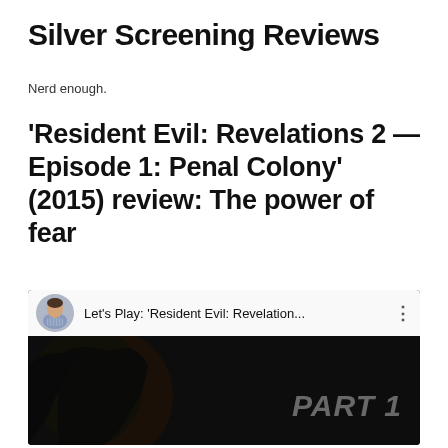Silver Screening Reviews
Nerd enough.
‘Resident Evil: Revelations 2 — Episode 1: Penal Colony’ (2015) review: The power of fear
[Figure (screenshot): YouTube video embed thumbnail showing a Let's Play of Resident Evil: Revelations... with a dark game screenshot of a character, YouTube play button in center, and 'PART 1' text overlay on the right.]